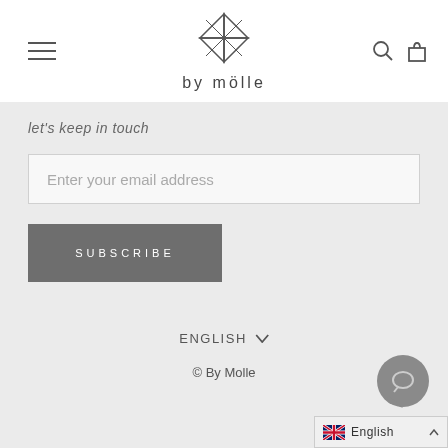[Figure (logo): by mölle logo with geometric star/pinwheel icon above the text 'by mölle']
let's keep in touch
Enter your email address
SUBSCRIBE
ENGLISH ∨
© By Molle
[Figure (illustration): Chat bubble icon circle in grey]
English ∧